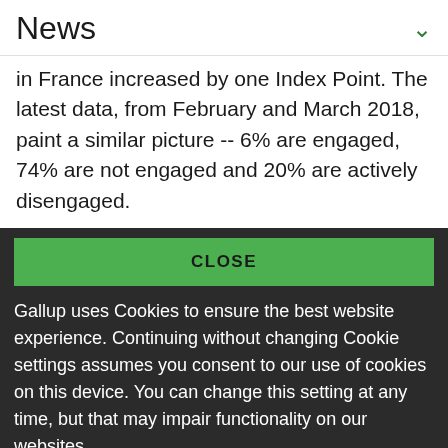News
in France increased by one Index Point. The latest data, from February and March 2018, paint a similar picture -- 6% are engaged, 74% are not engaged and 20% are actively disengaged.
CLOSE
Gallup uses Cookies to ensure the best website experience. Continuing without changing Cookie settings assumes you consent to our use of cookies on this device. You can change this setting at any time, but that may impair functionality on our websites.
Privacy Statement   Site Terms of Use and Sale
Product Terms of Use   Adjust your cookie settings.